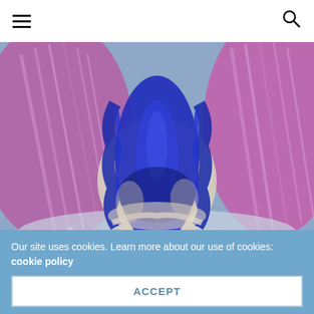≡  🔍
[Figure (photo): Close-up photo of a blue Squamosa clam with vivid blue and white wavy mantle, flanked by purple/pink coral or clam mantles on either side, resting on small white gravel substrate in an aquarium setting.]
Blue Squamosa Clams down to $99 at Old Town
Our site uses cookies. Learn more about our use of cookies: cookie policy
ACCEPT